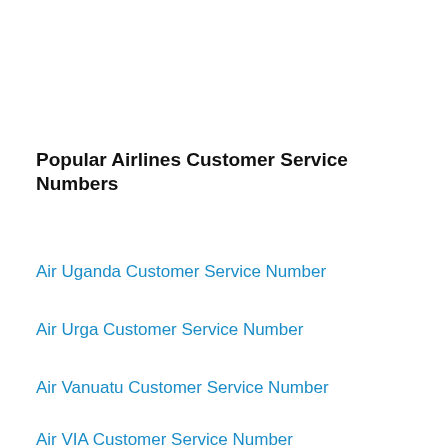Popular Airlines Customer Service Numbers
Air Uganda Customer Service Number
Air Urga Customer Service Number
Air Vanuatu Customer Service Number
Air VIA Customer Service Number